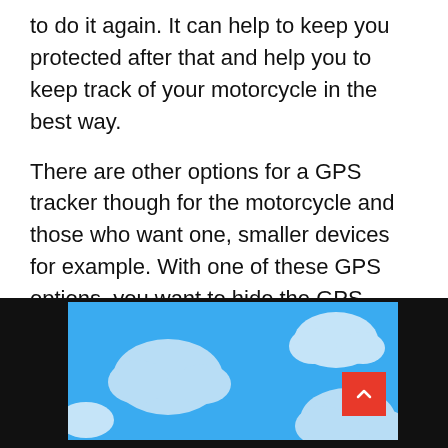to do it again. It can help to keep you protected after that and help you to keep track of your motorcycle in the best way.
There are other options for a GPS tracker though for the motorcycle and those who want one, smaller devices for example. With one of these GPS options, you want to hide the GPS tracker, somewhere with minimal metal shielding. And you want to
[Figure (illustration): Blue sky background with cartoon white clouds, with a red scroll-to-top button in the lower right corner]